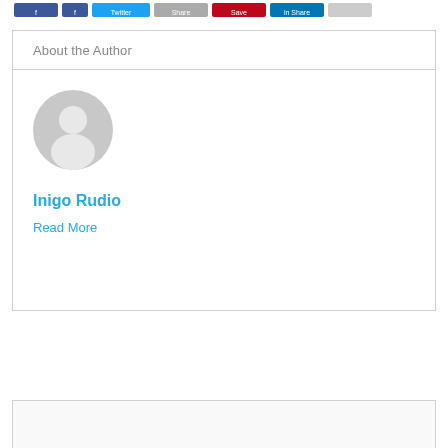[Figure (infographic): Row of social sharing buttons (Facebook, Facebook share, Twitter, Amazon, Pinterest/red, LinkedIn, grey button) partially visible at the top of the page]
About the Author
[Figure (illustration): Generic grey avatar/profile placeholder icon — circular silhouette of a person]
Inigo Rudio
Read More